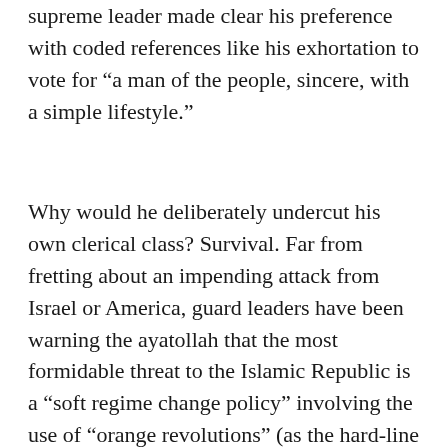supreme leader made clear his preference with coded references like his exhortation to vote for “a man of the people, sincere, with a simple lifestyle.”
Why would he deliberately undercut his own clerical class? Survival. Far from fretting about an impending attack from Israel or America, guard leaders have been warning the ayatollah that the most formidable threat to the Islamic Republic is a “soft regime change policy” involving the use of “orange revolutions” (as the hard-line Iranian newspaper Kayhan recently editorialized).